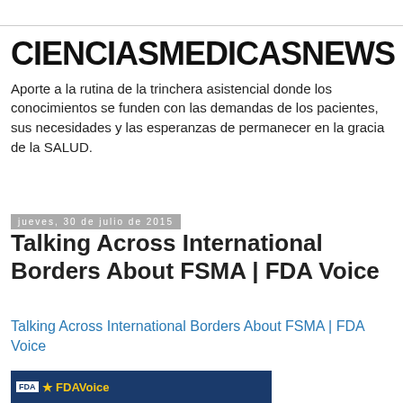CIENCIASMEDICASNEWS
Aporte a la rutina de la trinchera asistencial donde los conocimientos se funden con las demandas de los pacientes, sus necesidades y las esperanzas de permanecer en la gracia de la SALUD.
jueves, 30 de julio de 2015
Talking Across International Borders About FSMA | FDA Voice
Talking Across International Borders About FSMA | FDA Voice
[Figure (screenshot): FDA Voice website header screenshot showing FDAVoice logo on dark blue background]